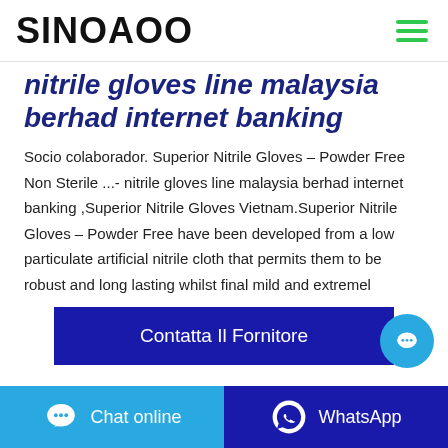SINOAOO
nitrile gloves line malaysia berhad internet banking
Socio colaborador. Superior Nitrile Gloves – Powder Free Non Sterile ...- nitrile gloves line malaysia berhad internet banking ,Superior Nitrile Gloves Vietnam.Superior Nitrile Gloves – Powder Free have been developed from a low particulate artificial nitrile cloth that permits them to be robust and long lasting whilst final mild and extremely
Contatta Il Fornitore
Chat online | WhatsApp